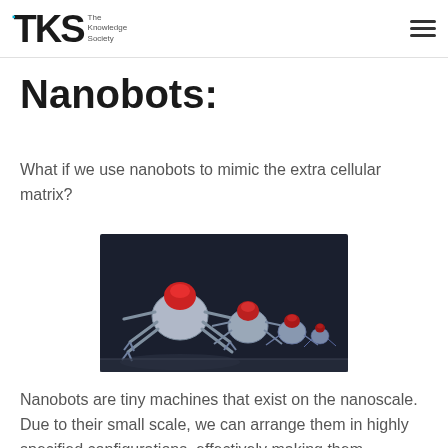TKS – The Knowledge Society
Nanobots:
What if we use nanobots to mimic the extra cellular matrix?
[Figure (photo): Row of silver metallic spider-like nanobot robots with red caps on a dark background, arranged in a line receding into the distance]
Nanobots are tiny machines that exist on the nanoscale. Due to their small scale, we can arrange them in highly specified configurations, effectively making them